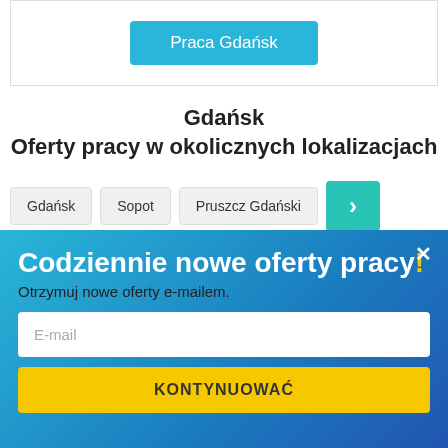[Figure (screenshot): Blue button labeled 'Praca Gdańsk' in a white bordered box]
Gdańsk
Oferty pracy w okolicznych lokalizacjach
Gdańsk  Sopot  Pruszcz Gdański  >
Kolbudy  Borkowo Łostowickie  gd...  Następna
Codziennie nowe oferty pracy!
Otrzymuj nowe oferty e-mailem.
E-mail
KONTYNUOWAĆ